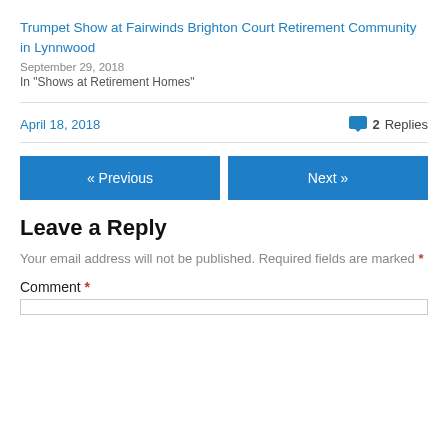Trumpet Show at Fairwinds Brighton Court Retirement Community in Lynnwood
September 29, 2018
In "Shows at Retirement Homes"
April 18, 2018   💬 2 Replies
« Previous   Next »
Leave a Reply
Your email address will not be published. Required fields are marked *
Comment *